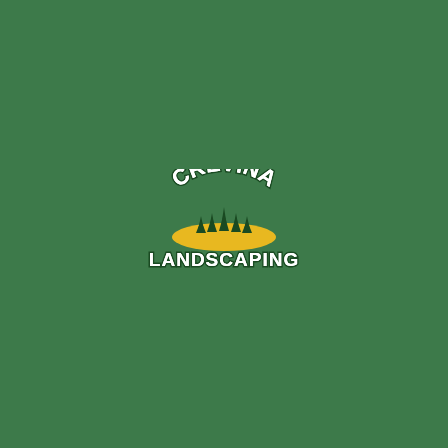[Figure (logo): Crevina Landscaping logo: arched text 'CREVINA' in white with dark green outline above a yellow oval with dark green tree silhouettes, and 'LANDSCAPING' in white bold text with dark green outline below, all on a medium green background.]